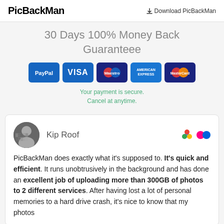PicBackMan | Download PicBackMan
30 Days 100% Money Back Guaranteee
[Figure (other): Payment method logos: PayPal, VISA, Maestro, American Express, MasterCard]
Your payment is secure.
Cancel at anytime.
Kip Roof
PicBackMan does exactly what it's supposed to. It's quick and efficient. It runs unobtrusively in the background and has done an excellent job of uploading more than 300GB of photos to 2 different services. After having lost a lot of personal memories to a hard drive crash, it's nice to know that my photos